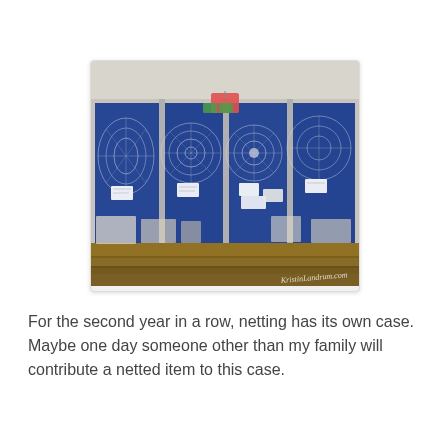[Figure (photo): A display case with a blue velvet background showing several white lace or netted doily items arranged behind glass panels divided into four sections. Small price tags or labels are attached to each item. A watermark reading 'KristinLandrum.com' appears in the lower right corner of the photo.]
For the second year in a row, netting has its own case. Maybe one day someone other than my family will contribute a netted item to this case.